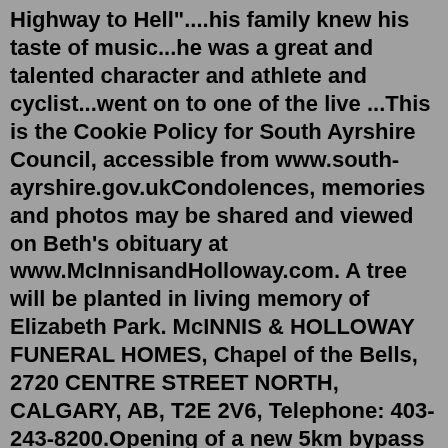Highway to Hell"....his family knew his taste of music...he was a great and talented character and athlete and cyclist...went on to one of the live ...This is the Cookie Policy for South Ayrshire Council, accessible from www.south-ayrshire.gov.ukCondolences, memories and photos may be shared and viewed on Beth's obituary at www.McInnisandHolloway.com. A tree will be planted in living memory of Elizabeth Park. McINNIS & HOLLOWAY FUNERAL HOMES, Chapel of the Bells, 2720 CENTRE STREET NORTH, CALGARY, AB, T2E 2V6, Telephone: 403-243-8200.Opening of a new 5km bypass to take the A77 around the town of Maybole in South Ayrshire has been welcomed as a "huge step forward" for local people following years of campaigning for the scheme. Scottish Transport Minister Jenny Gilruth cut a ribbon to open the route on Monday. The project promises to improve safety and air quality in. Feb 01, 2022 · Opening of a new 5km bypass to take ...Hi My gr. gr gr grandfather John Anderson was an inspector of the poor before